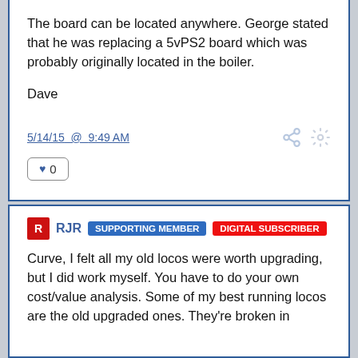The board can be located anywhere.  George stated that he was replacing a 5vPS2 board which was probably originally located in the boiler.
Dave
5/14/15  @  9:49 AM
♥ 0
R  RJR  SUPPORTING MEMBER  DIGITAL SUBSCRIBER
Curve, I felt all my old locos were worth upgrading, but I did work myself.  You have to do your own cost/value analysis.  Some of my best running locos are the old upgraded ones.  They're broken in